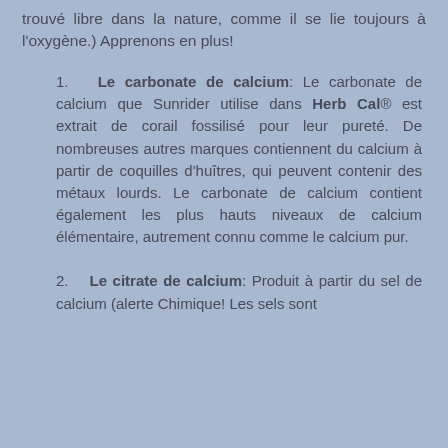trouvé libre dans la nature, comme il se lie toujours à l'oxygène.) Apprenons en plus!
1. Le carbonate de calcium: Le carbonate de calcium que Sunrider utilise dans Herb Cal® est extrait de corail fossilisé pour leur pureté. De nombreuses autres marques contiennent du calcium à partir de coquilles d'huîtres, qui peuvent contenir des métaux lourds. Le carbonate de calcium contient également les plus hauts niveaux de calcium élémentaire, autrement connu comme le calcium pur.
2. Le citrate de calcium: Produit à partir du sel de calcium (alerte Chimique! Les sels sont